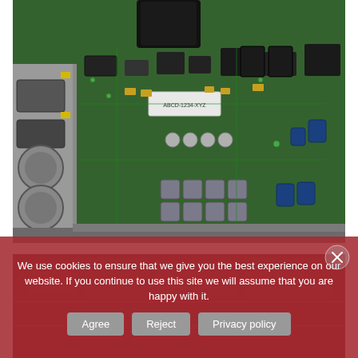[Figure (photo): Close-up photo of a green circuit board (PCB) with various electronic components including capacitors, transistors, inductors, and connectors. Metal enclosure visible on the left side.]
[Figure (photo): Partially visible second photo of another circuit board or electronic equipment, partially obscured by cookie consent overlay.]
We use cookies to ensure that we give you the best experience on our website. If you continue to use this site we will assume that you are happy with it.